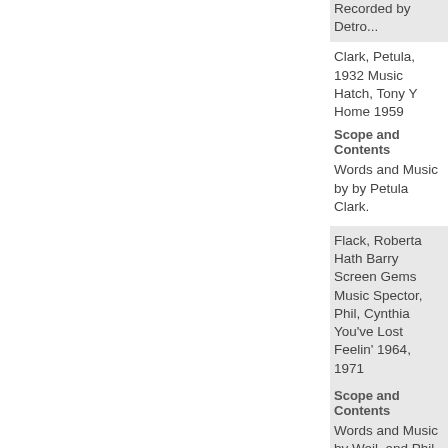Recorded by Detro...
Clark, Petula, 1932 Music Hatch, Tony Y Home 1959
Scope and Contents
Words and Music by by Petula Clark.
Flack, Roberta Hath Barry Screen Gems Music Spector, Phil, Cynthia You've Lost Feelin' 1964, 1971
Scope and Contents
Words and Music by Weil, and Phil Spect Roberta Flack and D
Agence Musicale In Ralph Gordy, Berry Brenda Holloway, Pa Co., Inc. Wilson, Fra Me So Very Happy
Scope and Contents